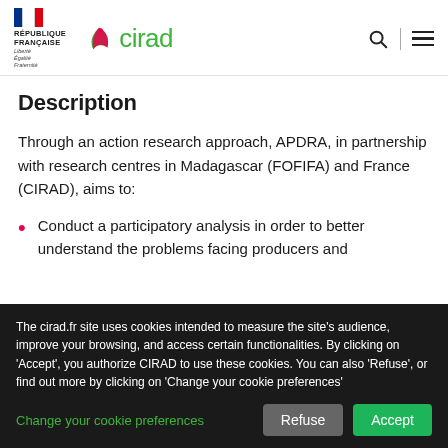RÉPUBLIQUE FRANÇAISE — Cirad
Description
Through an action research approach, APDRA, in partnership with research centres in Madagascar (FOFIFA) and France (CIRAD), aims to:
Conduct a participatory analysis in order to better understand the problems facing producers and
The cirad.fr site uses cookies intended to measure the site's audience, improve your browsing, and access certain functionalities. By clicking on 'Accept', you authorize CIRAD to use these cookies. You can also 'Refuse', or find out more by clicking on 'Change your cookie preferences'
Change your cookie preferences | Refuse | Accept